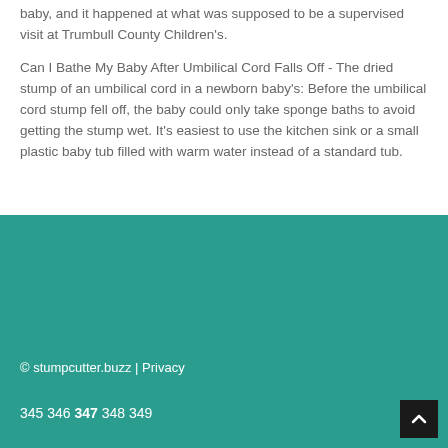baby, and it happened at what was supposed to be a supervised visit at Trumbull County Children's.
Can I Bathe My Baby After Umbilical Cord Falls Off - The dried stump of an umbilical cord in a newborn baby's: Before the umbilical cord stump fell off, the baby could only take sponge baths to avoid getting the stump wet. It's easiest to use the kitchen sink or a small plastic baby tub filled with warm water instead of a standard tub.
© stumpcutter.buzz | Privacy
345 346 347 348 349